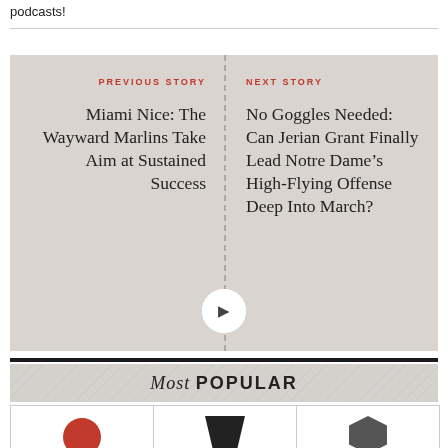podcasts!
[Figure (other): Previous Story / Next Story navigation box with two article titles: 'Miami Nice: The Wayward Marlins Take Aim at Sustained Success' (previous) and 'No Goggles Needed: Can Jerian Grant Finally Lead Notre Dame's High-Flying Offense Deep Into March?' (next), with left and right arrow buttons.]
Most POPULAR
[Figure (other): Row of three icon/logo thumbnails partially visible at the bottom of the page.]